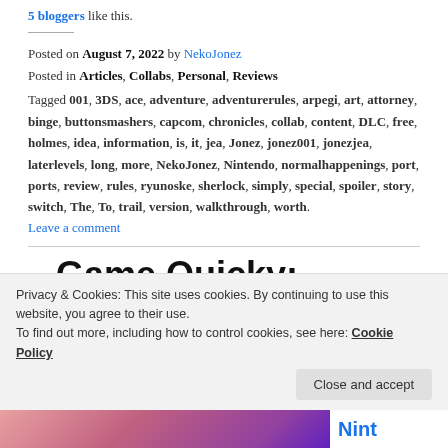5 bloggers like this.
Posted on August 7, 2022 by NekoJonez
Posted in Articles, Collabs, Personal, Reviews
Tagged 001, 3DS, ace, adventure, adventurerules, arpegi, art, attorney, binge, buttonsmashers, capcom, chronicles, collab, content, DLC, free, holmes, idea, information, is, it, jea, Jonez, jonez001, jonezjea, laterlevels, long, more, NekoJonez, Nintendo, normalhappenings, port, ports, review, rules, ryunoske, sherlock, simply, special, spoiler, story, switch, The, To, trail, version, walkthrough, worth.
Leave a comment
Game Quicky: Moon
Privacy & Cookies: This site uses cookies. By continuing to use this website, you agree to their use.
To find out more, including how to control cookies, see here: Cookie Policy
Close and accept